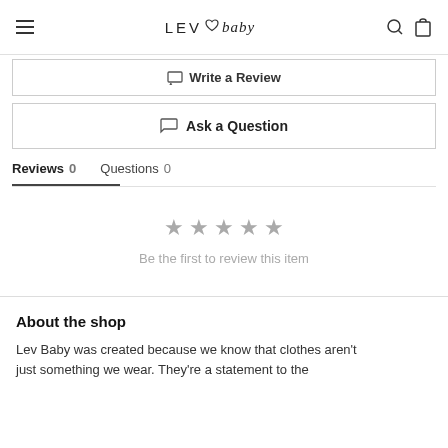LEV ♡ baby
Write a Review
Ask a Question
Reviews 0    Questions 0
[Figure (other): Five empty grey star icons indicating no reviews]
Be the first to review this item
About the shop
Lev Baby was created because we know that clothes aren't just something we wear. They're a statement to the